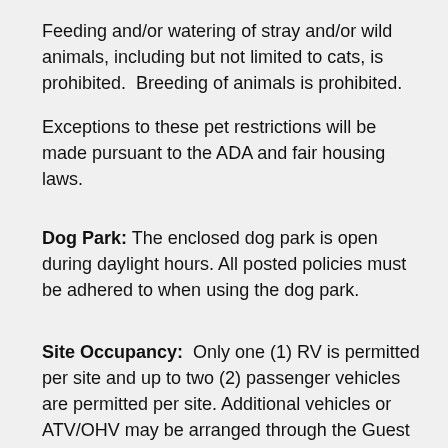Feeding and/or watering of stray and/or wild animals, including but not limited to cats, is prohibited.  Breeding of animals is prohibited.
Exceptions to these pet restrictions will be made pursuant to the ADA and fair housing laws.
Dog Park: The enclosed dog park is open during daylight hours. All posted policies must be adhered to when using the dog park.
Site Occupancy:  Only one (1) RV is permitted per site and up to two (2) passenger vehicles are permitted per site. Additional vehicles or ATV/OHV may be arranged through the Guest Services Office and may incur an additional fee